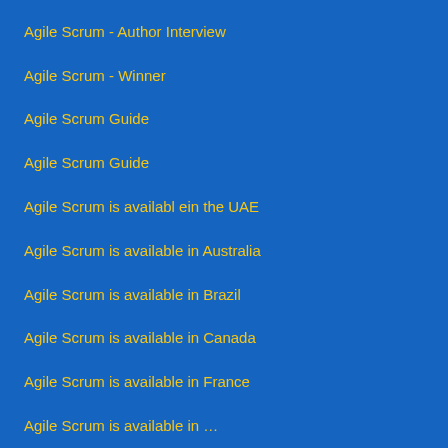Agile Scrum - Author Interview
Agile Scrum - Winner
Agile Scrum Guide
Agile Scrum Guide
Agile Scrum is availabl ein the UAE
Agile Scrum is available in Australia
Agile Scrum is available in Brazil
Agile Scrum is available in Canada
Agile Scrum is available in France
Agile Scrum is available in …